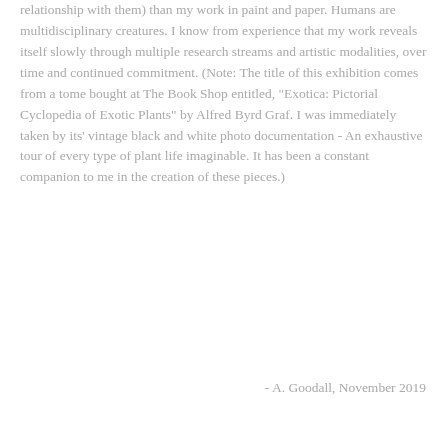relationship with them) than my work in paint and paper. Humans are multidisciplinary creatures. I know from experience that my work reveals itself slowly through multiple research streams and artistic modalities, over time and continued commitment. (Note: The title of this exhibition comes from a tome bought at The Book Shop entitled, "Exotica: Pictorial Cyclopedia of Exotic Plants" by Alfred Byrd Graf. I was immediately taken by its' vintage black and white photo documentation - An exhaustive tour of every type of plant life imaginable. It has been a constant companion to me in the creation of these pieces.)
- A. Goodall, November 2019